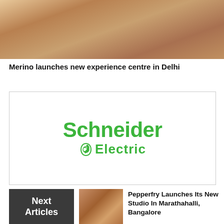[Figure (photo): Interior photo of a store or experience centre with wooden furniture and display items]
Merino launches new experience centre in Delhi
[Figure (logo): Schneider Electric logo in green on white background inside a bordered box]
Next Articles
[Figure (photo): Thumbnail photo of an interior space for Pepperfry studio]
Pepperfry Launches Its New Studio In Marathahalli, Bangalore